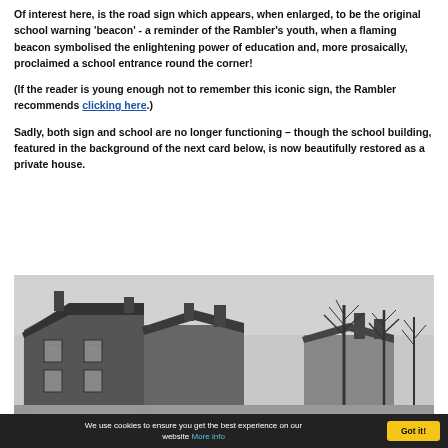Of interest here, is the road sign which appears, when enlarged, to be the original school warning 'beacon' - a reminder of the Rambler's youth, when a flaming beacon symbolised the enlightening power of education and, more prosaically, proclaimed a school entrance round the corner!
(If the reader is young enough not to remember this iconic sign, the Rambler recommends clicking here.)
Sadly, both sign and school are no longer functioning – though the school building, featured in the background of the next card below, is now beautifully restored as a private house.
[Figure (photo): Black and white photograph showing a stone cottage or building with a sloped roof and chimney, with bare trees visible in the background and a grey sky.]
We use cookies to ensure you get the best experience on our website More info